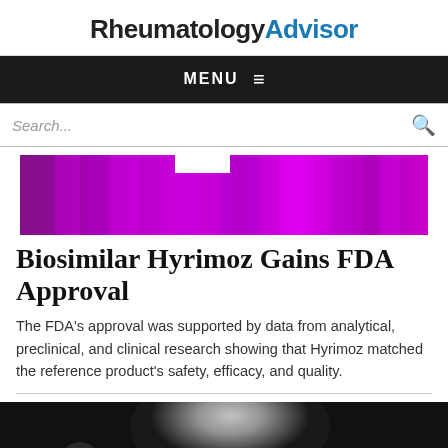RheumatologyAdvisor
MENU ≡
Search...
[Figure (illustration): Purple/magenta gradient banner image with a white notch cutout at the top center]
Biosimilar Hyrimoz Gains FDA Approval
The FDA's approval was supported by data from analytical, preclinical, and clinical research showing that Hyrimoz matched the reference product's safety, efficacy, and quality.
[Figure (photo): Black and white photo showing a person partially visible at the bottom of the frame against a dark background with a bright light source]